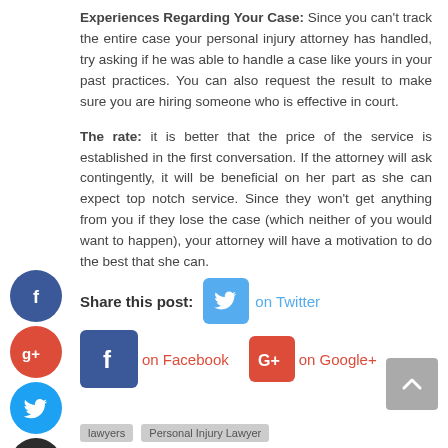Experiences Regarding Your Case: Since you can't track the entire case your personal injury attorney has handled, try asking if he was able to handle a case like yours in your past practices. You can also request the result to make sure you are hiring someone who is effective in court.
The rate: it is better that the price of the service is established in the first conversation. If the attorney will ask contingently, it will be beneficial on her part as she can expect top notch service. Since they won't get anything from you if they lose the case (which neither of you would want to happen), your attorney will have a motivation to do the best that she can.
Share this post: on Twitter on Facebook on Google+
[Figure (other): Social media sharing buttons: Twitter (blue bird icon), Facebook (blue f icon), Google+ (red G+ icon)]
lawyers
Personal Injury Lawyer